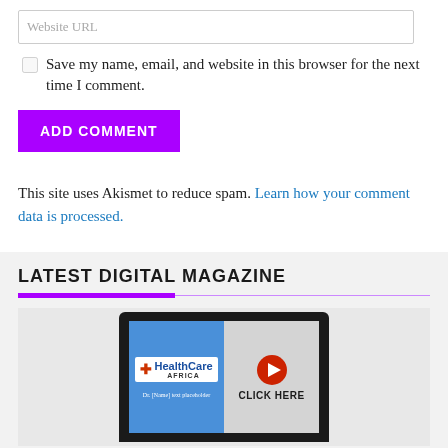Website URL
Save my name, email, and website in this browser for the next time I comment.
ADD COMMENT
This site uses Akismet to reduce spam. Learn how your comment data is processed.
LATEST DIGITAL MAGAZINE
[Figure (screenshot): Digital magazine preview showing HealthCare Africa magazine on a laptop screen with a play button and CLICK HERE text]